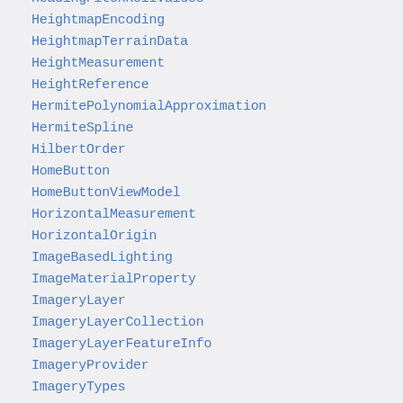HeadingPitchRollValues
HeightmapEncoding
HeightmapTerrainData
HeightMeasurement
HeightReference
HermitePolynomialApproximation
HermiteSpline
HilbertOrder
HomeButton
HomeButtonViewModel
HorizontalMeasurement
HorizontalOrigin
ImageBasedLighting
ImageMaterialProperty
ImageryLayer
ImageryLayerCollection
ImageryLayerFeatureInfo
ImageryProvider
ImageryTypes